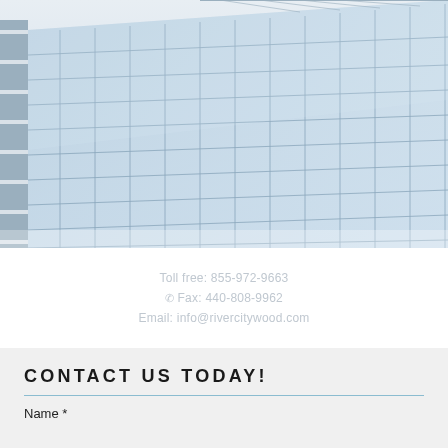[Figure (photo): Angled view of a modern glass curtain-wall office building with a blue-tinted grid of glass panels against a light sky.]
Toll free: 855-972-9663
Fax: 440-808-9962
Email: info@rivercitywood.com
CONTACT US TODAY!
Name *